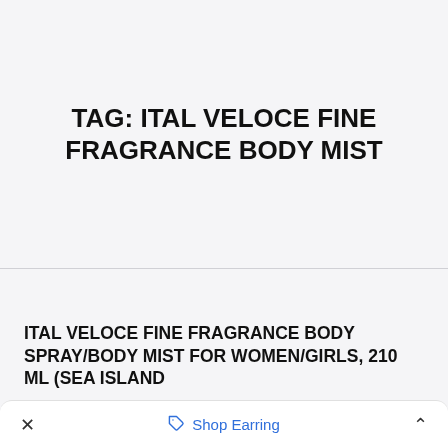TAG: ITAL VELOCE FINE FRAGRANCE BODY MIST
ITAL VELOCE FINE FRAGRANCE BODY SPRAY/BODY MIST FOR WOMEN/GIRLS, 210 ML (SEA ISLAND
× Shop Earring ^